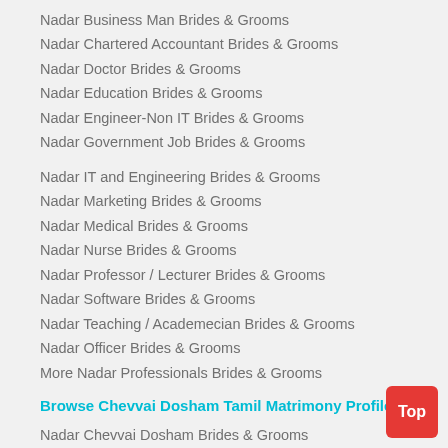Nadar Business Man Brides & Grooms
Nadar Chartered Accountant Brides & Grooms
Nadar Doctor Brides & Grooms
Nadar Education Brides & Grooms
Nadar Engineer-Non IT Brides & Grooms
Nadar Government Job Brides & Grooms
Nadar IT and Engineering Brides & Grooms
Nadar Marketing Brides & Grooms
Nadar Medical Brides & Grooms
Nadar Nurse Brides & Grooms
Nadar Professor / Lecturer Brides & Grooms
Nadar Software Brides & Grooms
Nadar Teaching / Academecian Brides & Grooms
Nadar Officer Brides & Grooms
More Nadar Professionals Brides & Grooms
Browse Chevvai Dosham Tamil Matrimony Profiles By
Nadar Chevvai Dosham Brides & Grooms